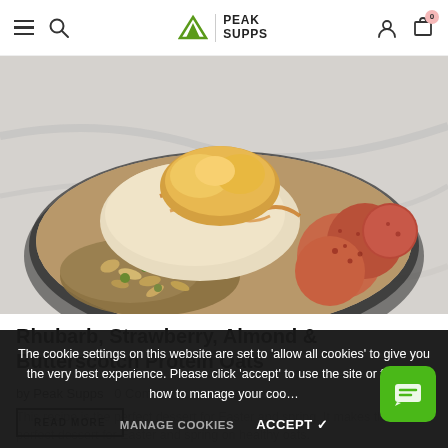Peak Supps — navigation bar with hamburger menu, search, logo, user icon, cart (0 items)
[Figure (photo): Close-up overhead photo of a bowl of protein oats with rhubarb, strawberry bites, granola, nuts and butterscotch drizzle on a marble surface]
Rhubarb, Strawberry, Almond & Butterscotch Protein Oats
by Peak Supps   0 Comments
This recipe is the perfect dessert for Easter and spring. It makes the perfect dessert for Easter and spring on healthy oats.
The cookie settings on this website are set to 'allow all cookies' to give you the very best experience. Please click 'accept' to use the site or find out how to manage your coo…
MANAGE COOKIES   ACCEPT ✓
READ MORE